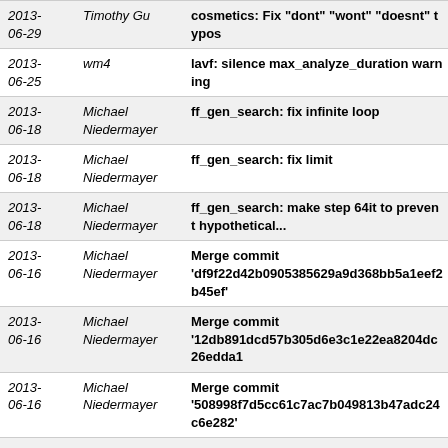| Date | Author | Message |
| --- | --- | --- |
| 2013-06-29 | Timothy Gu | cosmetics: Fix "dont" "wont" "doesnt" typos |
| 2013-06-25 | wm4 | lavf: silence max_analyze_duration warning |
| 2013-06-18 | Michael Niedermayer | ff_gen_search: fix infinite loop |
| 2013-06-18 | Michael Niedermayer | ff_gen_search: fix limit |
| 2013-06-18 | Michael Niedermayer | ff_gen_search: make step 64it to prevent hypothetical... |
| 2013-06-16 | Michael Niedermayer | Merge commit 'df9f22d42b0905385629a9d368bb5a1eef2b45ef' |
| 2013-06-16 | Michael Niedermayer | Merge commit '12db891dcd57b305d6e3c1e22ea8204dc26edda1 |
| 2013-06-16 | Michael Niedermayer | Merge commit '508998f7d5cc61c7ac7b049813b47adc24c6e282' |
| 2013-06-16 | Michael Niedermayer | Merge commit 'ec7c51c7868d3ccc66b5cc38bf126258b94f086c' |
| 2013-06-16 | Michael Niedermayer | Merge commit 'afc8685395e775fe0f2a1698b683aea4afd124af' |
| 2013- | Paul B Mahol | lavf: show APIC for tta files too |